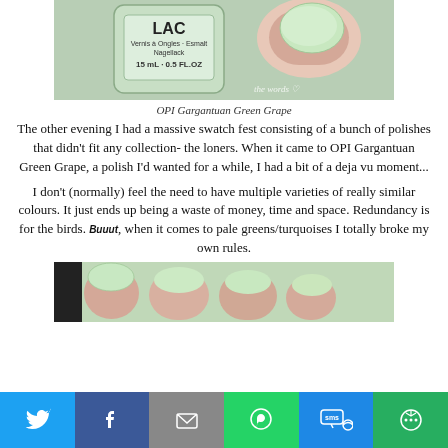[Figure (photo): Photo of a nail polish bottle labeled LAC with text 'Vernis a Ongles, Esmalt, Nagellack' and '15 mL 0.5 FL OZ', with a hand holding it showing a mint green nail. Watermark text visible.]
OPI Gargantuan Green Grape
The other evening I had a massive swatch fest consisting of a bunch of polishes that didn't fit any collection- the loners. When it came to OPI Gargantuan Green Grape, a polish I'd wanted for a while, I had a bit of a deja vu moment...
I don't (normally) feel the need to have multiple varieties of really similar colours. It just ends up being a waste of money, time and space. Redundancy is for the birds. Buuut, when it comes to pale greens/turquoises I totally broke my own rules.
[Figure (photo): Close-up photo of fingers with mint green nail polish applied.]
Social sharing bar with Twitter, Facebook, Email, WhatsApp, SMS, and More buttons